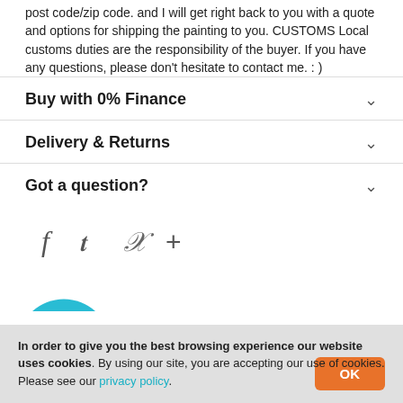post code/zip code. and I will get right back to you with a quote and options for shipping the painting to you. CUSTOMS Local customs duties are the responsibility of the buyer. If you have any questions, please don't hesitate to contact me. : )
Buy with 0% Finance
Delivery & Returns
Got a question?
[Figure (other): Social media share icons: Facebook (f), Twitter (bird), Pinterest (P), and a plus (+) icon]
[Figure (other): Partial teal/cyan arc shape at bottom left, likely part of a profile or logo element]
In order to give you the best browsing experience our website uses cookies. By using our site, you are accepting our use of cookies. Please see our privacy policy.